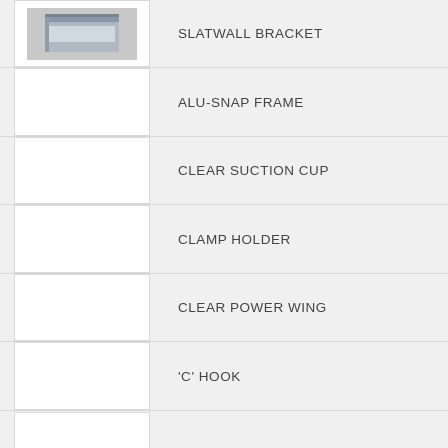SLATWALL BRACKET
ALU-SNAP FRAME
CLEAR SUCTION CUP
CLAMP HOLDER
CLEAR POWER WING
'C' HOOK